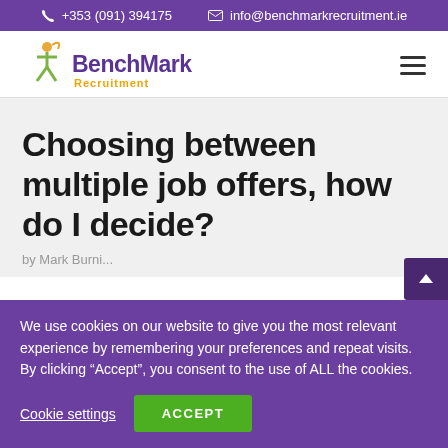+353 (091) 394175   info@benchmarkrecruitment.ie
[Figure (logo): BenchMark Recruitment logo with stylized person figure in purple, green and orange colors, with 'Recruitment' in orange below]
Choosing between multiple job offers, how do I decide?
We use cookies on our website to give you the most relevant experience by remembering your preferences and repeat visits. By clicking “Accept”, you consent to the use of ALL the cookies.
Cookie settings   ACCEPT